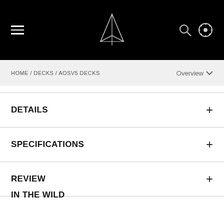Navigation bar with hamburger menu, logo, search icon, and settings icon
HOME / DECKS / AOSV5 DECKS
Overview
DETAILS
SPECIFICATIONS
REVIEW
IN THE WILD